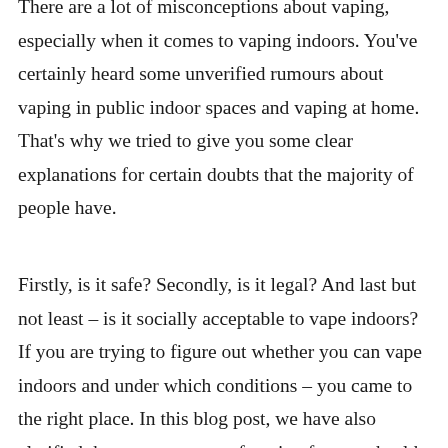There are a lot of misconceptions about vaping, especially when it comes to vaping indoors. You've certainly heard some unverified rumours about vaping in public indoor spaces and vaping at home. That's why we tried to give you some clear explanations for certain doubts that the majority of people have.
Firstly, is it safe? Secondly, is it legal? And last but not least – is it socially acceptable to vape indoors? If you are trying to figure out whether you can vape indoors and under which conditions – you came to the right place. In this blog post, we have also clarified the consequences of vaping for your health. We've also demystified its impact on the well-being of people around you who constantly inhale the